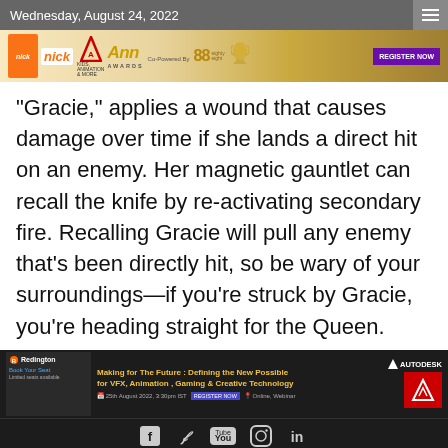Wednesday, August 24, 2022
[Figure (infographic): Nick Kids Animation & More | Ann Awards | Co-Powered By 88 eightysight | REGISTER NOW banner advertisement]
“Gracie,” applies a wound that causes damage over time if she lands a direct hit on an enemy. Her magnetic gauntlet can recall the knife by re-activating secondary fire. Recalling Gracie will pull any enemy that’s been directly hit, so be wary of your surroundings—if you’re struck by Gracie, you’re heading straight for the Queen.
[Figure (infographic): Redington | Making for The Future: Defining the New Possible for VFX, Animation, Gaming & Creative Technology | AUTODESK bottom banner advertisement]
Copyright © 2022 AnimationXpress   AnimationXpress| All rights reserved.